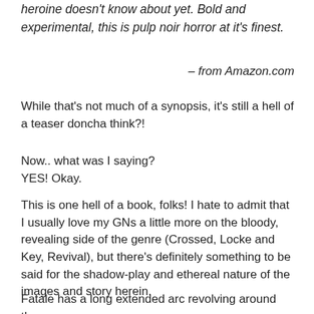heroine doesn't know about yet. Bold and experimental, this is pulp noir horror at it's finest.
– from Amazon.com
While that's not much of a synopsis, it's still a hell of a teaser doncha think?!
Now.. what was I saying?
YES! Okay.
This is one hell of a book, folks! I hate to admit that I usually love my GNs a little more on the bloody, revealing side of the genre (Crossed, Locke and Key, Revival), but there's definitely something to be said for the shadow-play and ethereal nature of the images and story herein.
Fatale has a long extended arc revolving around the Femme Fatale character and how seductive charm is t...